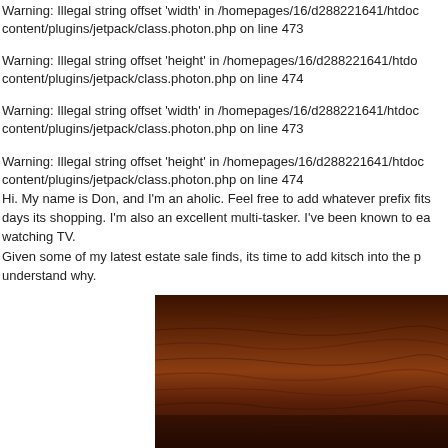Warning: Illegal string offset 'width' in /homepages/16/d288221641/htdoc content/plugins/jetpack/class.photon.php on line 473
Warning: Illegal string offset 'height' in /homepages/16/d288221641/htdoc content/plugins/jetpack/class.photon.php on line 474
Warning: Illegal string offset 'width' in /homepages/16/d288221641/htdoc content/plugins/jetpack/class.photon.php on line 473
Warning: Illegal string offset 'height' in /homepages/16/d288221641/htdoc content/plugins/jetpack/class.photon.php on line 474
Hi. My name is Don, and I'm an aholic. Feel free to add whatever prefix fits days its shopping. I'm also an excellent multi-tasker. I've been known to ea watching TV.
Given some of my latest estate sale finds, its time to add kitsch into the p understand why.
[Figure (photo): Dark brown wood grain texture, partially cropped, dark reddish-brown tones]